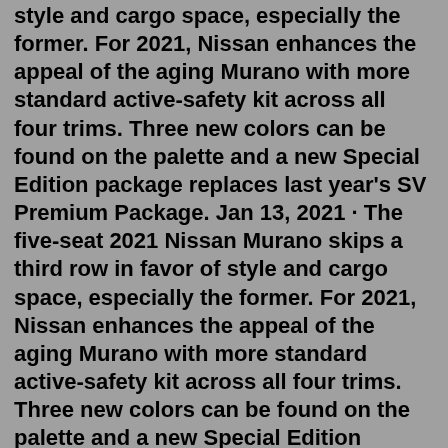style and cargo space, especially the former. For 2021, Nissan enhances the appeal of the aging Murano with more standard active-safety kit across all four trims. Three new colors can be found on the palette and a new Special Edition package replaces last year's SV Premium Package. Jan 13, 2021 · The five-seat 2021 Nissan Murano skips a third row in favor of style and cargo space, especially the former. For 2021, Nissan enhances the appeal of the aging Murano with more standard active-safety kit across all four trims. Three new colors can be found on the palette and a new Special Edition package replaces last year's SV Premium Package. Jan 13, 2021 · The five-seat 2021 Nissan Murano skips a third row in favor of style and cargo space, especially the former. For 2021, Nissan enhances the appeal of the aging Murano with more standard active-safety kit across all four trims. Three new colors can be found on the palette and a new Special Edition package replaces last year's SV Premium Package. Consumer reviews; 2007 Nissan Murano...